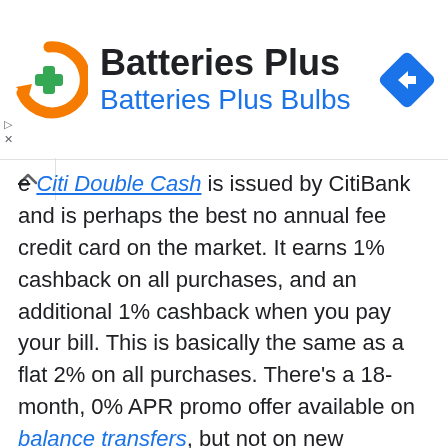[Figure (logo): Batteries Plus Bulbs advertisement banner with logo (orange circular arrow with green plus sign), store name 'Batteries Plus' and subtitle 'Batteries Plus Bulbs' in blue, and a blue diamond navigation icon on the right.]
e Citi Double Cash is issued by CitiBank and is perhaps the best no annual fee credit card on the market. It earns 1% cashback on all purchases, and an additional 1% cashback when you pay your bill. This is basically the same as a flat 2% on all purchases. There’s a 18-month, 0% APR promo offer available on balance transfers, but not on new purchases on the card. There is no sign up bonus currently, but other than that this is a fantastic card all-around with a simple yet generous earning rate.